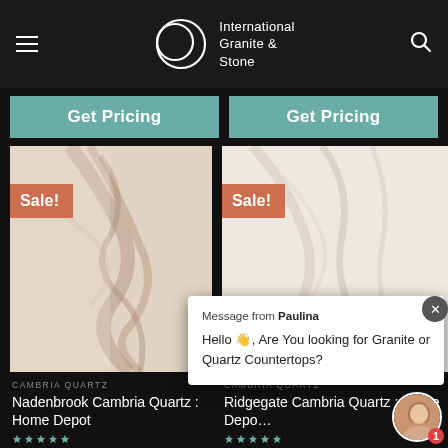International Granite & Stone
Get Pricing
Get Pricing
[Figure (photo): Marble/quartz stone slab with veining, Sale! badge overlay — Nadenbrook Cambria Quartz Home Depot]
[Figure (photo): Light marble/quartz stone slab with veining, Sale! badge overlay — Ridgegate Cambria Quartz Home Depot]
Message from Paulina
Hello 👋, Are You looking for Granite or Quartz Countertops?
CAMBRIA QUARTZ
Nadenbrook Cambria Quartz : Home Depot
CAMBRIA QUARTZ
Ridgegate Cambria Quartz : Home Depo…